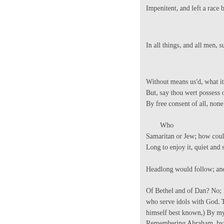Impenitent, and left a race beh
In all things, and all men, su
Without means us'd, what it
But, say thou wert possess o
By free consent of all, none
Who
Samaritan or Jew; how coul
Long to enjoy it, quiet and s
Headlong would follow; and t
Of Bethel and of Dan? No; let
who serve idols with God. Thou
himself best known,) By my adv
Remembering Abraham, by so
May bring them back, repenta
passing cleave the Assyrian floo
While to their native land with